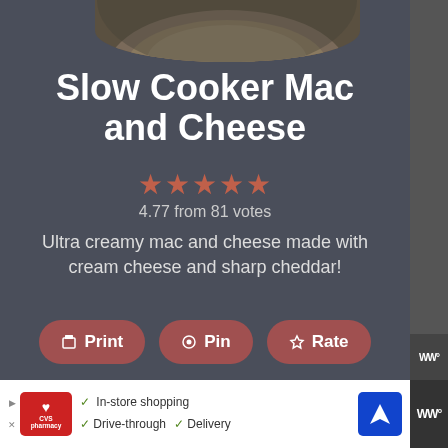[Figure (photo): Partial view of a slow cooker mac and cheese dish in a bowl, cropped at top.]
Slow Cooker Mac and Cheese
★★★★★ 4.77 from 81 votes
Ultra creamy mac and cheese made with cream cheese and sharp cheddar!
🖨 Print  ⊙ Pin  ☆ Rate
Course: Side Dish   Cuisine: American
Prep Time: 15 minutes
Cook Time: 2 hours
Total Time: 2 hours 15 minutes
Servings: 6   Calories: 732kcal
Author: Sarah Olson
[Figure (screenshot): CVS Pharmacy advertisement bar: In-store shopping, Drive-through, Delivery with navigation icon.]